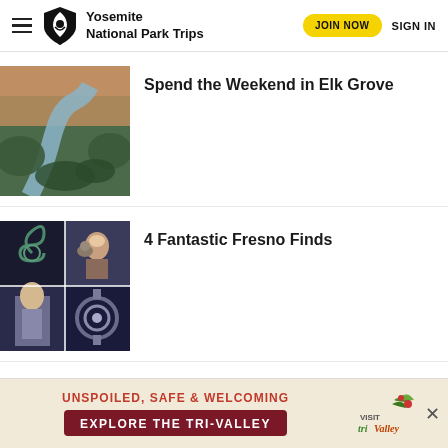Yosemite National Park Trips | JOIN NOW | SIGN IN
[Figure (photo): Aerial view of a river winding through green trees and parkland at dusk]
Spend the Weekend in Elk Grove
[Figure (photo): Collage of four street art / mural images in Fresno]
4 Fantastic Fresno Finds
[Figure (infographic): Ad banner: UNSPOILED, SAFE & WELCOMING — EXPLORE THE TRI-VALLEY — Visit Tri Valley logo]